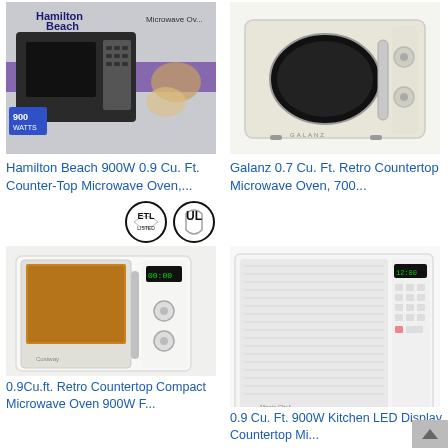[Figure (photo): Hamilton Beach microwave oven product photo showing box with 900W label]
Hamilton Beach 900W 0.9 Cu. Ft. Counter-Top Microwave Oven,...
[Figure (photo): Galanz retro countertop microwave oven in cream/beige color]
Galanz 0.7 Cu. Ft. Retro Countertop Microwave Oven, 700...
[Figure (logo): ETL and UL certification badges/logos]
[Figure (photo): White retro countertop compact microwave oven with green LED display]
0.9Cu.ft. Retro Countertop Compact Microwave Oven 900W F...
[Figure (photo): White countertop microwave oven with LED display and keypad]
0.9 Cu. Ft. 900W Kitchen LED Display Countertop Mi...